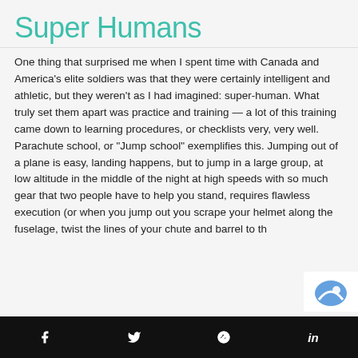Super Humans
One thing that surprised me when I spent time with Canada and America's elite soldiers was that they were certainly intelligent and athletic, but they weren't as I had imagined: super-human. What truly set them apart was practice and training — a lot of this training came down to learning procedures, or checklists very, very well. Parachute school, or "Jump school" exemplifies this. Jumping out of a plane is easy, landing happens, but to jump in a large group, at low altitude in the middle of the night at high speeds with so much gear that two people have to help you stand, requires flawless execution (or when you jump out you scrape your helmet along the fuselage, twist the lines of your chute and barrel to th...
f  t  p  in